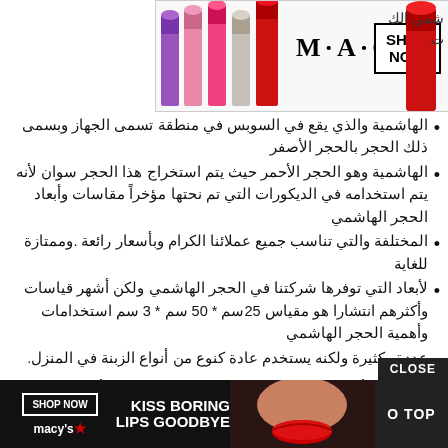[Figure (photo): MAC cosmetics advertisement banner at top with lipsticks on left and right, MAC logo and SHOP NOW box]
الهاشمية والذي يقع في السوبس في منطقة تسمى الجهاز وبسمى ذلك الحجر بالحجر الأصفر
الهاشمية وهو الحجر الأحمر حيث يتم استخراج هذا الحجر سوان لأنه يتم استخدامه في الديكورات التي تم نحتها مؤخراً
مقاسات وأبعاد الحجر الهاشمي المختلفة والتي تناسب جميع عملائنا الكرام وبأسعار رائعة .وممتازة للغاية
لأبعاد التي توفرها شركتنا في الحجر الهاشمي ولكن أشهر قياسات وأكثرهم انتشارا هو مقياس 25سم * 50 سم * 3 سم
استخدامات وأهمية الحجر الهاشمي عددة وكثيرة ولكنه يستخدم عادة كنوع من أنواع الزبنة في المنزل.
شمي في أعمال الديكورات والتصميمات حيث يعطى ألوانا .لامعة ومتميزة
يضًا في واجهات المباني الرئيسية وغالبا في أعلى البوابات وعلى جانبها
[Figure (photo): Macy's advertisement banner at bottom: KISS BORING LIPS GOODBYE with red lips photo, SHOP NOW button, Macy's logo]
CLOSE
O TOP